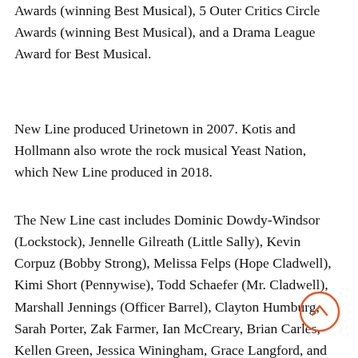Awards (winning Best Musical), 5 Outer Critics Circle Awards (winning Best Musical), and a Drama League Award for Best Musical.
New Line produced Urinetown in 2007. Kotis and Hollmann also wrote the rock musical Yeast Nation, which New Line produced in 2018.
The New Line cast includes Dominic Dowdy-Windsor (Lockstock), Jennelle Gilreath (Little Sally), Kevin Corpuz (Bobby Strong), Melissa Felps (Hope Cladwell), Kimi Short (Pennywise), Todd Schaefer (Mr. Cladwell), Marshall Jennings (Officer Barrel), Clayton Humburg, Sarah Porter, Zak Farmer, Ian McCreary, Brian Carles, Kellen Green, Jessica Winingham, Grace Langford, and Carrie Wenos Priesmeyer.